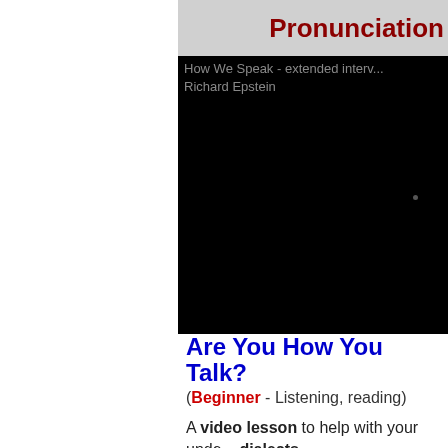Pronunciation
[Figure (screenshot): A dark/black video player showing 'How We Speak - extended interview with Richard Epstein' thumbnail with alt text visible at top]
Are You How You Talk?
(Beginner - Listening, reading)
A video lesson to help with your understanding of dialects.